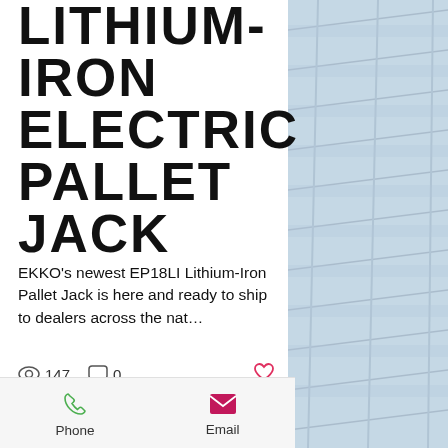LITHIUM-IRON ELECTRIC PALLET JACK
EKKO's newest EP18LI Lithium-Iron Pallet Jack is here and ready to ship to dealers across the nat...
147 views  0 comments  ♡
[Figure (logo): EKKO Material Handling Equipment logo with MOVING AHEAD tagline on yellow/orange banner]
Phone   Email